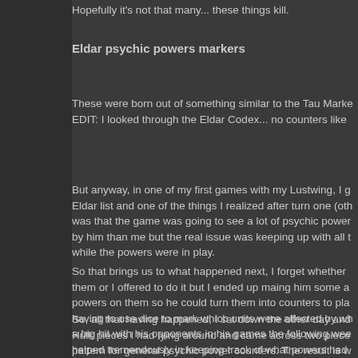Hopefully it's not that many... these things kill.
Eldar psychic powers markers
These were born out of something similar to the Tau Marke EDIT: I looked through the Eldar Codex... no counters like
But anyway, in one of my first games with my Lustwing, I g Eldar list and one of the things I realized after turn one (oth was that the game was going to see a lot of psychic power by him than me but the real issue was keeping up with all t while the powers were in play.
So that brings us to what happened next, I forget whether them or I offered to do it but I ended up maing him some a powers on them so he could turn them into counters to pla having to use dice to mark which units were affected by wh a big hit with his opponents in his games the following wee helped tremendously in keeping track of what powers had
So, all that having happened, I sat down the other day and Hulk pieces I had lying around and came across two piece pattern for general psychic power counters. The result is w